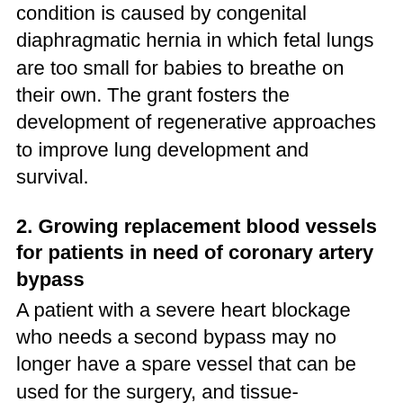condition is caused by congenital diaphragmatic hernia in which fetal lungs are too small for babies to breathe on their own. The grant fosters the development of regenerative approaches to improve lung development and survival.
2. Growing replacement blood vessels for patients in need of coronary artery bypass
A patient with a severe heart blockage who needs a second bypass may no longer have a spare vessel that can be used for the surgery, and tissue-engineered arteries lack the cellular lining needed to reduce the risk of blood clots. Professor Robert Tranquillo, Ph.D., a